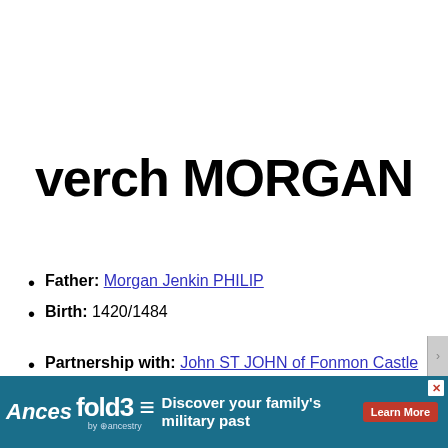verch MORGAN
Father: Morgan Jenkin PHILIP
Birth: 1420/1484
Partnership with: John ST JOHN of Fonmon Castle
Child: Margaret ST JOHN Birth: 1465/1497
[Figure (other): Fold3 by Ancestry advertisement banner at bottom of page: 'Discover your family's military past - Learn More']